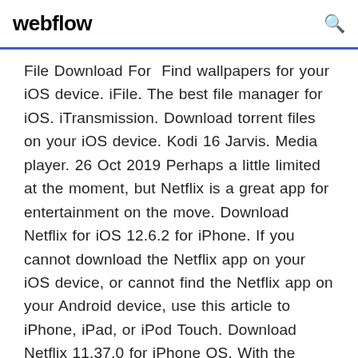webflow
File Download For  Find wallpapers for your iOS device. iFile. The best file manager for iOS. iTransmission. Download torrent files on your iOS device. Kodi 16 Jarvis. Media player. 26 Oct 2019 Perhaps a little limited at the moment, but Netflix is a great app for entertainment on the move. Download Netflix for iOS 12.6.2 for iPhone. If you cannot download the Netflix app on your iOS device, or cannot find the Netflix app on your Android device, use this article to iPhone, iPad, or iPod Touch. Download Netflix 11.37.0 for iPhone OS. With the official Netflix app, you can login to your Netflix account and stream your favorite movies and TV series in HD. iPadOS is designed to make your iPad even